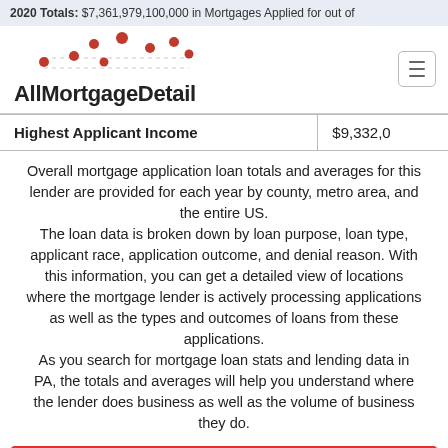2020 Totals:  $7,361,979,100,000 in Mortgages Applied for out of
[Figure (logo): AllMortgageDetail logo with red dots pattern above text and hamburger menu icon]
| Highest Applicant Income | $9,332,0 |
Overall mortgage application loan totals and averages for this lender are provided for each year by county, metro area, and the entire US.
The loan data is broken down by loan purpose, loan type, applicant race, application outcome, and denial reason. With this information, you can get a detailed view of locations where the mortgage lender is actively processing applications as well as the types and outcomes of loans from these applications.
As you search for mortgage loan stats and lending data in PA, the totals and averages will help you understand where the lender does business as well as the volume of business they do.